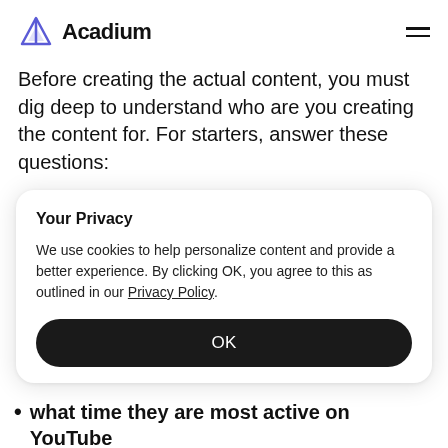Acadium
Before creating the actual content, you must dig deep to understand who are you creating the content for. For starters, answer these questions:
Your Privacy
We use cookies to help personalize content and provide a better experience. By clicking OK, you agree to this as outlined in our Privacy Policy.
OK
what time they are most active on YouTube